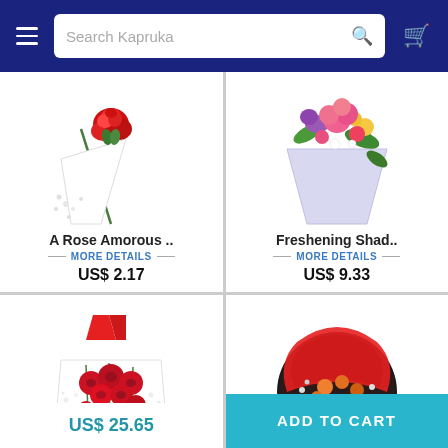Search Kapruka
[Figure (photo): A single red rose wrapped in white paper with greenery]
A Rose Amorous ..
MORE DETAILS
US$ 2.17
[Figure (photo): A colorful bouquet with pink, purple, yellow flowers]
Freshening Shad..
MORE DETAILS
US$ 9.33
[Figure (photo): A bunch of red roses wrapped in white tissue with red ribbon]
US$ 25.65
[Figure (photo): A round floral arrangement with red wrapping and mixed flowers]
ADD TO CART